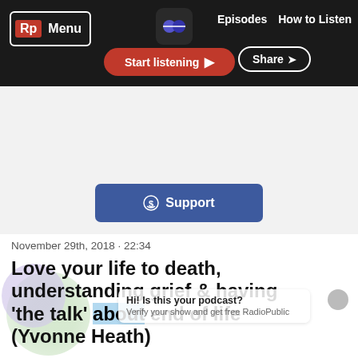Rp Menu | Episodes | How to Listen | Start listening | Share
Support the Show
Supporting The Impactors Podcast will ensure they keep making the show you love
Support
November 29th, 2018 · 22:34
Love your life to death, understanding grief & having 'the talk' about end of life (Yvonne Heath)